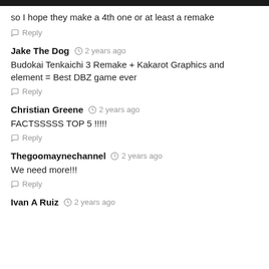so I hope they make a 4th one or at least a remake
Reply
Jake The Dog  2 years ago
Budokai Tenkaichi 3 Remake + Kakarot Graphics and element = Best DBZ game ever
Reply
Christian Greene  2 years ago
FACTSSSSS TOP 5 !!!!!
Reply
Thegoomaynechannel  2 years ago
We need more!!!
Reply
Ivan A Ruiz  2 years ago